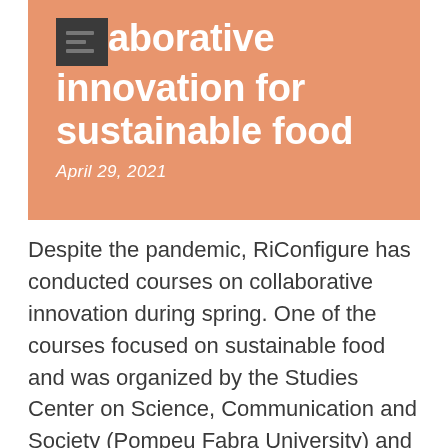Collaborative innovation for sustainable food
April 29, 2021
Despite the pandemic, RiConfigure has conducted courses on collaborative innovation during spring. One of the courses focused on sustainable food and was organized by the Studies Center on Science, Communication and Society (Pompeu Fabra University) and the Barcelona Metropolitan Strategic Plan, in collaboration with Barcelona World Sustainable Food Capital and the Barcelona